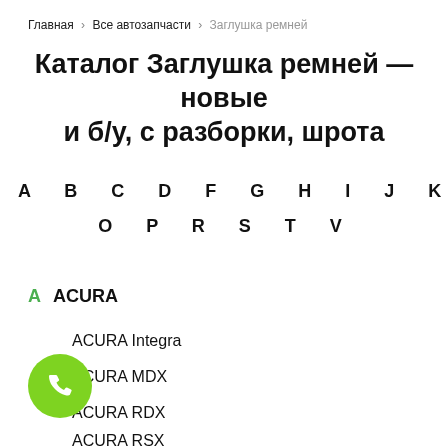Главная > Все автозапчасти > Заглушка ремней
Каталог Заглушка ремней — новые и б/у, с разборки, шрота
A B C D F G H I J K L M N O P R S T V
A ACURA
ACURA Integra
ACURA MDX
ACURA RDX
ACURA RSX
ACURA TL…